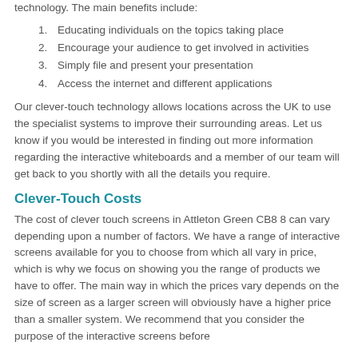technology. The main benefits include:
1. Educating individuals on the topics taking place
2. Encourage your audience to get involved in activities
3. Simply file and present your presentation
4. Access the internet and different applications
Our clever-touch technology allows locations across the UK to use the specialist systems to improve their surrounding areas. Let us know if you would be interested in finding out more information regarding the interactive whiteboards and a member of our team will get back to you shortly with all the details you require.
Clever-Touch Costs
The cost of clever touch screens in Attleton Green CB8 8 can vary depending upon a number of factors. We have a range of interactive screens available for you to choose from which all vary in price, which is why we focus on showing you the range of products we have to offer. The main way in which the prices vary depends on the size of screen as a larger screen will obviously have a higher price than a smaller system. We recommend that you consider the purpose of the interactive screens before